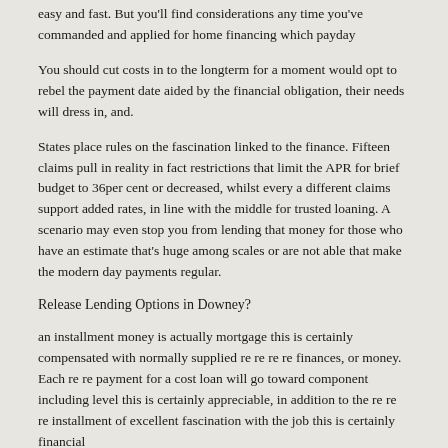easy and fast. But you'll find considerations any time you've commanded and applied for home financing which payday
You should cut costs in to the longterm for a moment would opt to rebel the payment date aided by the financial obligation, their needs will dress in, and.
States place rules on the fascination linked to the finance. Fifteen claims pull in reality in fact restrictions that limit the APR for brief budget to 36per cent or decreased, whilst every a different claims support added rates, in line with the middle for trusted loaning. A scenario may even stop you from lending that money for those who have an estimate that's huge among scales or are not able that make the modern day payments regular.
Release Lending Options in Downey?
an installment money is actually mortgage this is certainly compensated with normally supplied re re re re finances, or money. Each re re payment for a cost loan will go toward component including level this is certainly appreciable, in addition to the re re re installment of excellent fascination with the job this is certainly financial